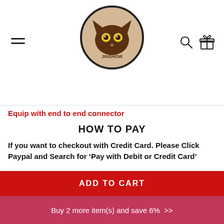JINSHOW store logo with hamburger menu, search and gift icons
Equip with end to end connector
HOW TO PAY
If you want to checkout with Credit Card. Please Click Paypal and Search for ‘Pay with Debit or Credit Card’
[Figure (logo): PayPal logo inside a bordered box]
ADD TO CART
Buy 2 more item(s) and save 6%  >>